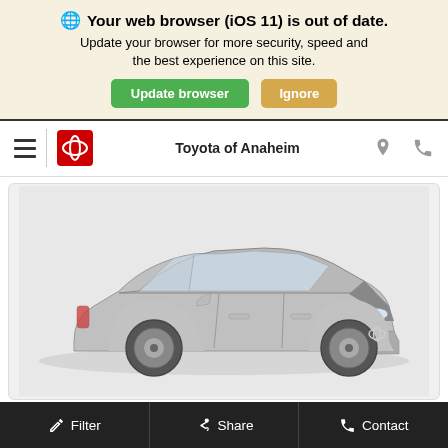🌐 Your web browser (iOS 11) is out of date. Update your browser for more security, speed and the best experience on this site.
Update browser | Ignore
Toyota of Anaheim
[Figure (photo): Silver Toyota Camry sedan shown from front three-quarter angle on a light gray background]
Filter | Share | Contact